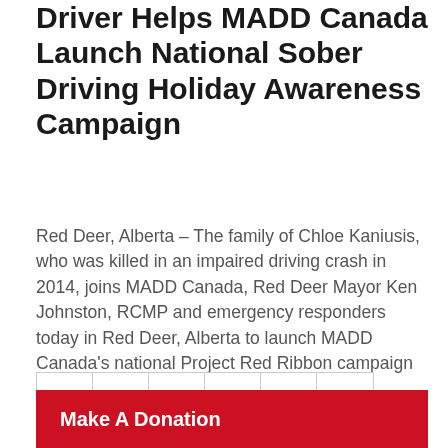Driver Helps MADD Canada Launch National Sober Driving Holiday Awareness Campaign
Red Deer, Alberta – The family of Chloe Kaniusis, who was killed in an impaired driving crash in 2014, joins MADD Canada, Red Deer Mayor Ken Johnston, RCMP and emergency responders today in Red Deer, Alberta to launch MADD Canada's national Project Red Ribbon campaign to promote sober driving during the holiday season. Chloe and her mother, Brenda, were returning…
1 2 3 4 5 >
Make A Donation